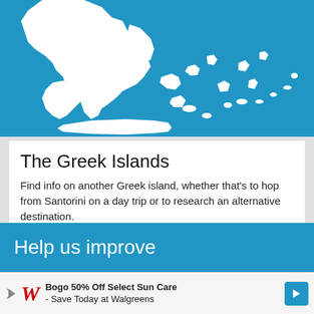[Figure (map): Blue map of the Greek Islands region showing white landmasses (Greece and surrounding islands) on a blue sea background]
The Greek Islands
Find info on another Greek island, whether that’s to hop from Santorini on a day trip or to research an alternative destination.
Help us improve
Bogo 50% Off Select Sun Care - Save Today at Walgreens